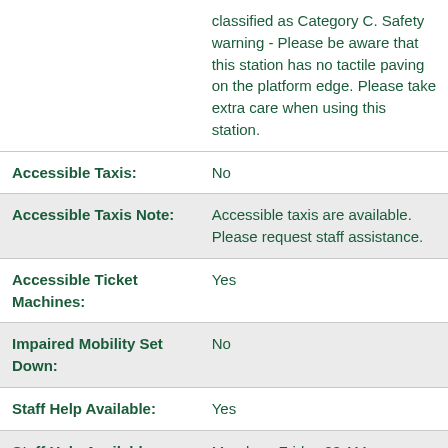| Field | Value |
| --- | --- |
|  | classified as Category C. Safety warning - Please be aware that this station has no tactile paving on the platform edge. Please take extra care when using this station. |
| Accessible Taxis: | No |
| Accessible Taxis Note: | Accessible taxis are available. Please request staff assistance. |
| Accessible Ticket Machines: | Yes |
| Impaired Mobility Set Down: | No |
| Staff Help Available: | Yes |
| Staff Help Available | Monday - Friday 08 AM... |